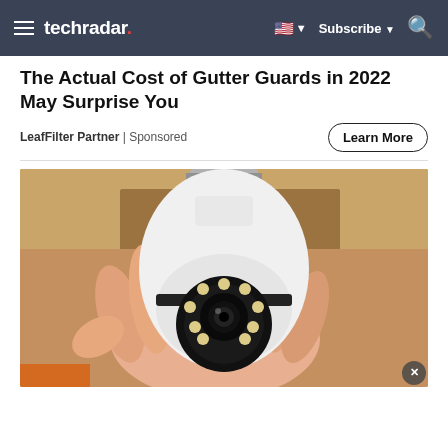techradar — Subscribe
The Actual Cost of Gutter Guards in 2022 May Surprise You
LeafFilter Partner | Sponsored
[Figure (photo): A hand holding a light bulb-shaped security camera with a black camera lens and LED lights on the front, with a screw base at the top, photographed indoors.]
Learn More